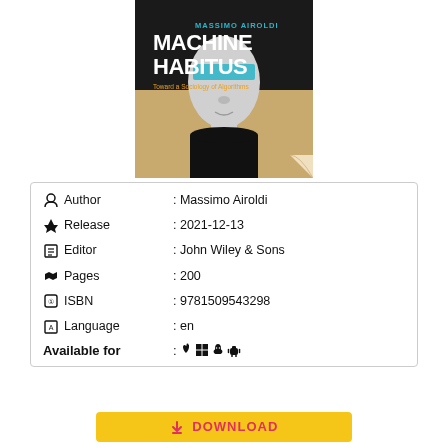[Figure (illustration): Book cover of 'Machine Habitus: Toward a Sociology of Algorithms' by Massimo Airoldi. Shows a stylized human face with digital/algorithmic visual overlays.]
| Author | Massimo Airoldi |
| Release | 2021-12-13 |
| Editor | John Wiley & Sons |
| Pages | 200 |
| ISBN | 9781509543298 |
| Language | en |
| Available for | : 🍎 ⊞ 🐧 🤖 |
DOWNLOAD